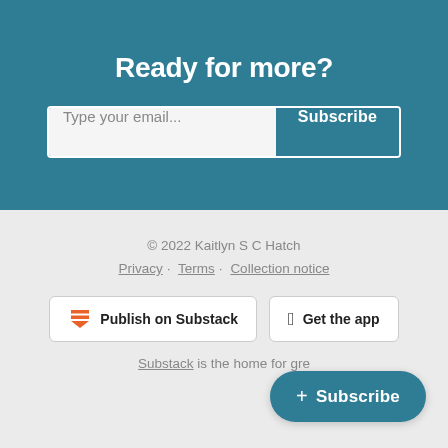Ready for more?
Type your email...  Subscribe
© 2022 Kaitlyn S C Hatch
Privacy · Terms · Collection notice
Publish on Substack
Get the app
Substack is the home for gre…
+ Subscribe